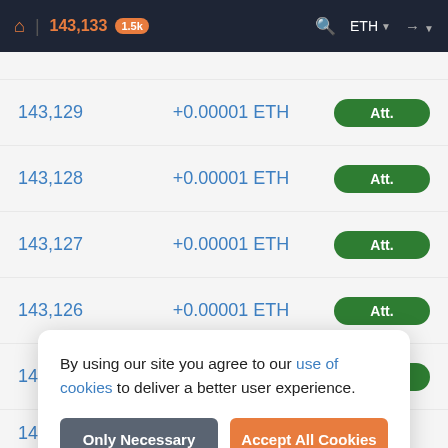143,133  1.5k  ETH
| Block | Value | Status |
| --- | --- | --- |
| 143,129 | +0.00001 ETH | Att. |
| 143,128 | +0.00001 ETH | Att. |
| 143,127 | +0.00001 ETH | Att. |
| 143,126 | +0.00001 ETH | Att. |
| 143,125 | +0.00001 ETH | Att. |
| 14... | +0.00001 ETH | Att. |
By using our site you agree to our use of cookies to deliver a better user experience.
Only Necessary
Accept All Cookies